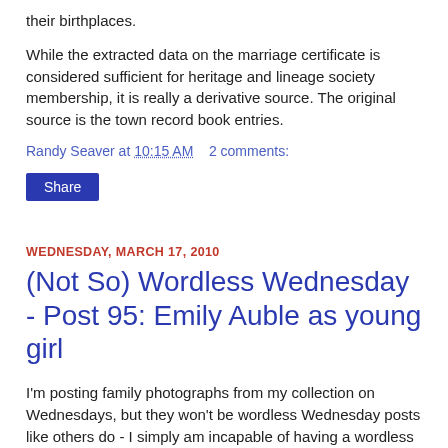their birthplaces.
While the extracted data on the marriage certificate is considered sufficient for heritage and lineage society membership, it is really a derivative source. The original source is the town record book entries.
Randy Seaver at 10:15 AM   2 comments:
Share
WEDNESDAY, MARCH 17, 2010
(Not So) Wordless Wednesday - Post 95: Emily Auble as young girl
I'm posting family photographs from my collection on Wednesdays, but they won't be wordless Wednesday posts like others do - I simply am incapable of having a wordless post.